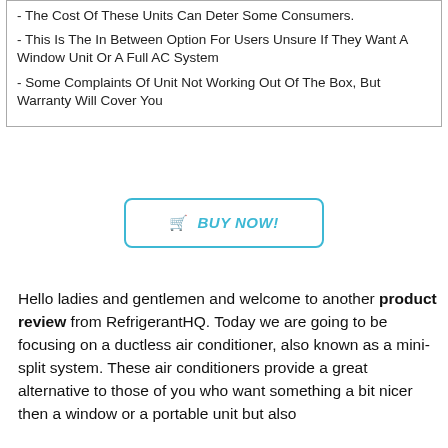- The Cost Of These Units Can Deter Some Consumers.
- This Is The In Between Option For Users Unsure If They Want A Window Unit Or A Full AC System
- Some Complaints Of Unit Not Working Out Of The Box, But Warranty Will Cover You
🛒 BUY NOW!
Hello ladies and gentlemen and welcome to another product review from RefrigerantHQ. Today we are going to be focusing on a ductless air conditioner, also known as a mini-split system. These air conditioners provide a great alternative to those of you who want something a bit nicer then a window or a portable unit but also